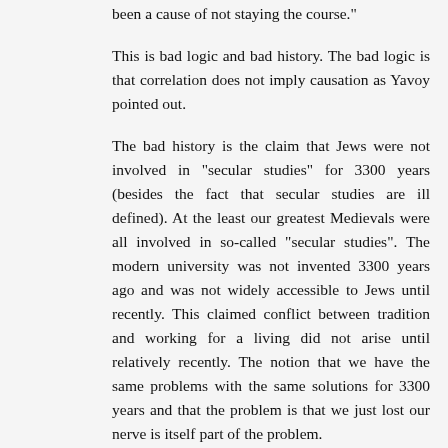been a cause of not staying the course."
This is bad logic and bad history. The bad logic is that correlation does not imply causation as Yavoy pointed out.
The bad history is the claim that Jews were not involved in "secular studies" for 3300 years (besides the fact that secular studies are ill defined). At the least our greatest Medievals were all involved in so-called "secular studies". The modern university was not invented 3300 years ago and was not widely accessible to Jews until recently. This claimed conflict between tradition and working for a living did not arise until relatively recently. The notion that we have the same problems with the same solutions for 3300 years and that the problem is that we just lost our nerve is itself part of the problem.